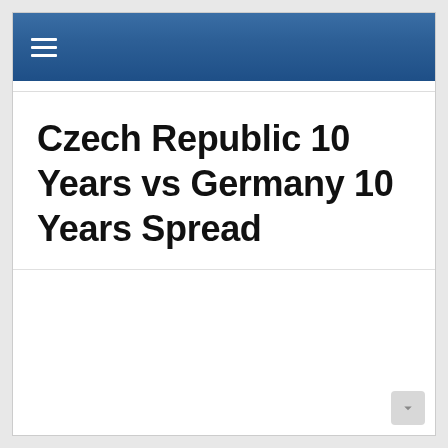≡
Czech Republic 10 Years vs Germany 10 Years Spread